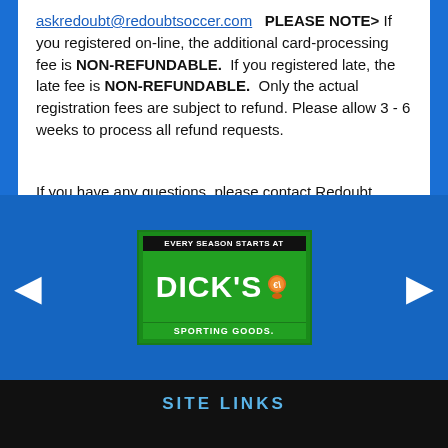askredoubt@redoubtsoccer.com  PLEASE NOTE> If you registered on-line, the additional card-processing fee is NON-REFUNDABLE.  If you registered late, the late fee is NON-REFUNDABLE.  Only the actual registration fees are subject to refund. Please allow 3 - 6 weeks to process all refund requests.
If you have any questions, please contact Redoubt Soccer Association.
email:  askredoubt@redoubtsoccer.com
[Figure (logo): Dick's Sporting Goods advertisement banner. Green background with 'EVERY SEASON STARTS AT' in black bar at top, large 'DICK'S' text with mascot, 'SPORTING GOODS.' at bottom.]
SITE LINKS